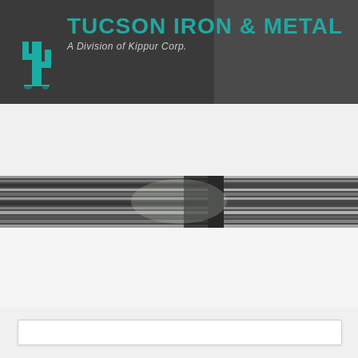[Figure (logo): Tucson Iron & Metal logo with teal cactus icon on dark background]
Tucson Iron & Metal
A Division of Kippur Corp.
[Figure (illustration): Teal navigation bar with email envelope icon on left and phone handset icon on right]
[Figure (photo): Photo strip showing stacked metal sheets/pipes in industrial setting]
// // //
[Figure (other): Empty white search/input box at bottom of page]